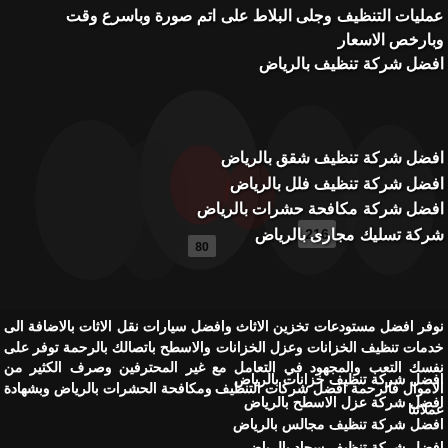عمليات التنظيف وجلى البلاط على اتم صورة وباسرع وقت وبارخص الاسعار
افضل شركة تنظيف بالرياض
افضل شركة تنظيف شقق بالرياض
افضل شركة تنظيف فلل بالرياض
افضل شركة مكافحة حشرات بالرياض
شركة تسليك مجارى بالرياض
نوفر افضل مستودعات تخزين الاثاث وافضل سيارات نقل الاثات بالاضافة الى خدمات تنظيف الخزانات وعزل الخزانات والاسطح باتصالك بالرحمة توفر على نفسك التعب والمجهود في التعامل مع غير المحترفين وصرف الكثير من الاموال فالرحمة افضل شركات التنظيف ومكافحة الحشرات بالرياض وبشهادة عملائنا
افضل شركة تنظيف خزانات بالرياض
افضل شركة عزل الاسطح بالرياض
افضل شركة تنظيف مجالس بالرياض
افضل شركة تنظيف سجاد بالرياض
شركة تخزن اثاث بالرياض